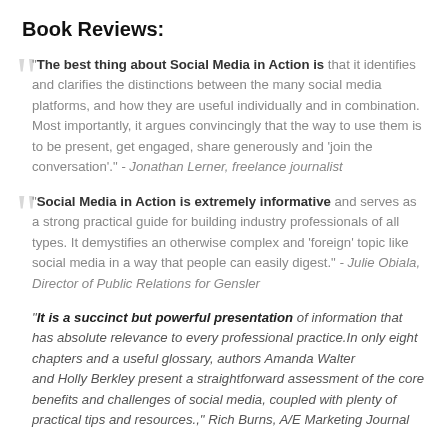Book Reviews:
"The best thing about Social Media in Action is that it identifies and clarifies the distinctions between the many social media platforms, and how they are useful individually and in combination. Most importantly, it argues convincingly that the way to use them is to be present, get engaged, share generously and 'join the conversation'." - Jonathan Lerner, freelance journalist
"Social Media in Action is extremely informative and serves as a strong practical guide for building industry professionals of all types. It demystifies an otherwise complex and 'foreign' topic like social media in a way that people can easily digest." - Julie Obiala, Director of Public Relations for Gensler
"It is a succinct but powerful presentation of information that has absolute relevance to every professional practice.In only eight chapters and a useful glossary, authors Amanda Walter and Holly Berkley present a straightforward assessment of the core benefits and challenges of social media, coupled with plenty of practical tips and resources.," Rich Burns, A/E Marketing Journal